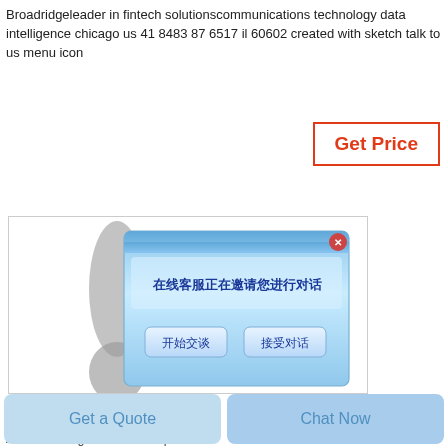Broadridgeleader in fintech solutionscommunications technology data intelligence chicago us 41 8483 87 6517 il 60602 created with sketch talk to us menu icon
[Figure (screenshot): Screenshot of a chat widget interface showing a Chinese-language chat dialog popup. The dialog has a blue gradient background with a close button (X), Chinese text '在线客服正在邀请您进行对话' (Online customer service is inviting you to chat), and two buttons labeled '开始交谈' (Start Chat) and '接受对话' (Accept Chat). Behind the dialog is a gray blob/avatar shape on a white background.]
Allan San Diego In Sacramento CA 916
Allan san diego which also operates
Get a Quote
Chat Now